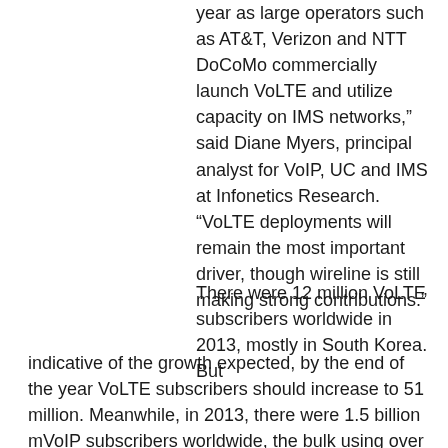year as large operators such as AT&T, Verizon and NTT DoCoMo commercially launch VoLTE and utilize capacity on IMS networks," said Diane Myers, principal analyst for VoIP, UC and IMS at Infonetics Research. "VoLTE deployments will remain the most important driver, though wireline is still making strong contributions."
There were 12 million VoLTE subscribers worldwide in 2013, mostly in South Korea. But indicative of the growth expected, by the end of the year VoLTE subscribers should increase to 51 million. Meanwhile, in 2013, there were 1.5 billion mVoIP subscribers worldwide, the bulk using over the-top (OTT) applications like Skype—so it will be a challenge for operators to differentiate their VoLTE